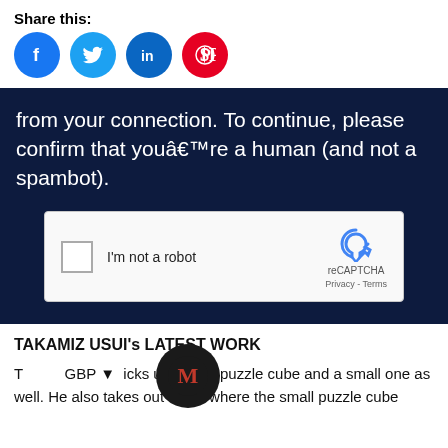Share this:
[Figure (illustration): Social media share icons: Facebook (blue), Twitter (cyan), LinkedIn (blue), Pinterest (red)]
[Figure (screenshot): Dark navy background box with white text: 'from your connection. To continue, please confirm that youâ€™re a human (and not a spambot).' and a reCAPTCHA widget with 'I'm not a robot' checkbox, reCAPTCHA logo, Privacy and Terms links.]
TAKAMIZ USUI's LATEST WORK
[Figure (logo): Black circle with red letter M logo overlay]
T         GBP ▾  icks up  gular puzzle cube and a small one as well. He also takes out a box where the small puzzle cube